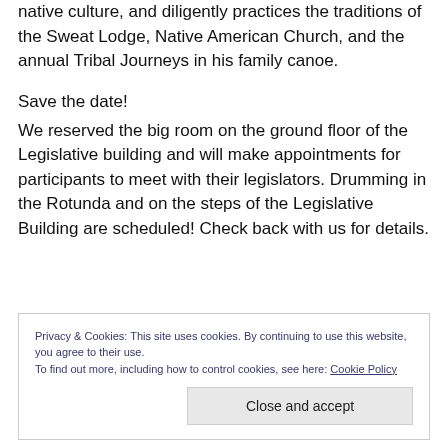native culture, and diligently practices the traditions of the Sweat Lodge, Native American Church, and the annual Tribal Journeys in his family canoe.
Save the date!
We reserved the big room on the ground floor of the Legislative building and will make appointments for participants to meet with their legislators. Drumming in the Rotunda and on the steps of the Legislative Building are scheduled! Check back with us for details.
Privacy & Cookies: This site uses cookies. By continuing to use this website, you agree to their use.
To find out more, including how to control cookies, see here: Cookie Policy
Close and accept